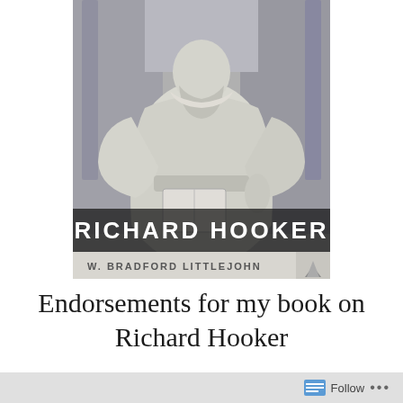[Figure (photo): Book cover of 'Richard Hooker' by W. Bradford Littlejohn. Shows a stone statue of a robed figure (Richard Hooker) holding a book, overlaid with bold white text 'RICHARD HOOKER' and below in a lighter banner 'W. BRADFORD LITTLEJOHN' with a small publisher logo.]
Endorsements for my book on Richard Hooker
I am pleased to announce that my book, Richard